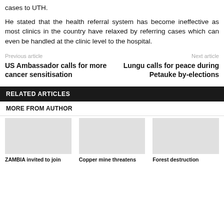cases to UTH.
He stated that the health referral system has become ineffective as most clinics in the country have relaxed by referring cases which can even be handled at the clinic level to the hospital.
Previous article
US Ambassador calls for more cancer sensitisation
Next article
Lungu calls for peace during Petauke by-elections
RELATED ARTICLES
MORE FROM AUTHOR
ZAMBIA invited to join
Copper mine threatens
Forest destruction